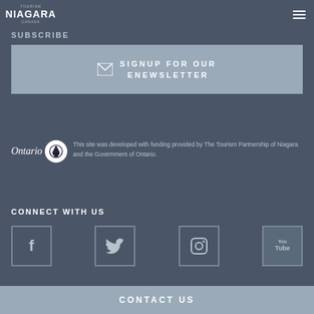Tourism Niagara Canada
SUBSCRIBE
SIGNUP FOR OUR eNEWSLETTER
[Figure (logo): Ontario government logo with trillium symbol]
This site was developed with funding provided by The Tourism Partnership of Niagara and the Government of Ontario.
CONNECT WITH US
[Figure (infographic): Social media icons: Facebook, Twitter, Instagram, YouTube]
CONTACT US